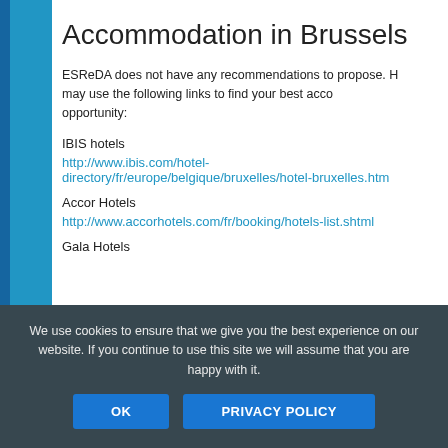Accommodation in Brussels
ESReDA does not have any recommendations to propose. However, you may use the following links to find your best accommodation opportunity:
IBIS hotels
http://www.ibis.com/hotel-directory/fr/europe/belgique/bruxelles/hotel-bruxelles.html
Accor Hotels
http://www.accorhotels.com/fr/booking/hotels-list.shtml
Gala Hotels
We use cookies to ensure that we give you the best experience on our website. If you continue to use this site we will assume that you are happy with it.